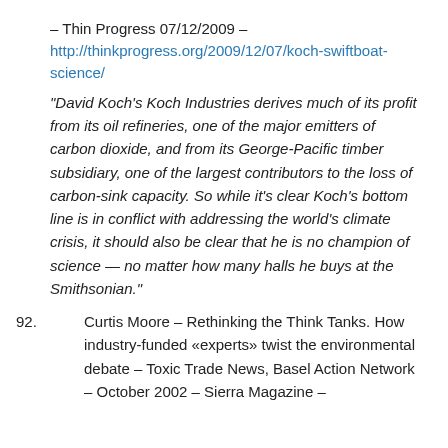– Thin Progress 07/12/2009 – http://thinkprogress.org/2009/12/07/koch-swiftboat-science/
“David Koch’s Koch Industries derives much of its profit from its oil refineries, one of the major emitters of carbon dioxide, and from its George-Pacific timber subsidiary, one of the largest contributors to the loss of carbon-sink capacity. So while it’s clear Koch’s bottom line is in conflict with addressing the world’s climate crisis, it should also be clear that he is no champion of science — no matter how many halls he buys at the Smithsonian.”
92. Curtis Moore – Rethinking the Think Tanks. How industry-funded «experts» twist the environmental debate – Toxic Trade News, Basel Action Network – October 2002 – Sierra Magazine –